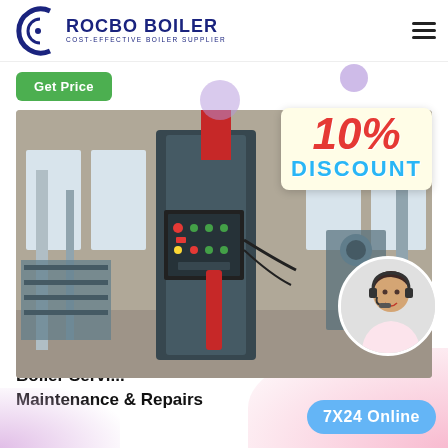ROCBO BOILER - COST-EFFECTIVE BOILER SUPPLIER
Get Price
[Figure (photo): Industrial steam boiler with control panel in a factory, with a 10% DISCOUNT badge overlay and a customer service representative in a circular inset photo]
My Boiler Plan | Preston Boiler Service, Maintenance & Repairs
7X24 Online